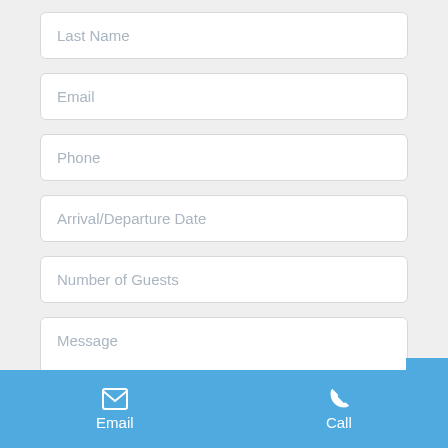Last Name
Email
Phone
Arrival/Departure Date
Number of Guests
Message
Email
Call